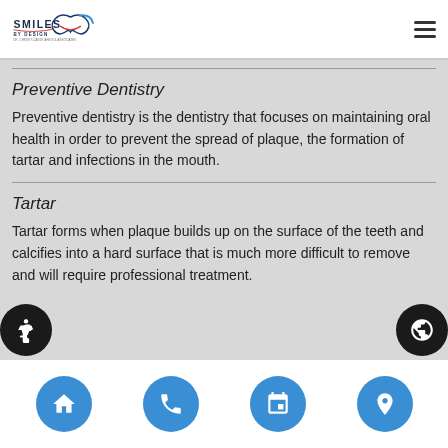[Figure (logo): Smiles By Design dental practice logo with stylized tooth/smile graphic]
Preventive Dentistry
Preventive dentistry is the dentistry that focuses on maintaining oral health in order to prevent the spread of plaque, the formation of tartar and infections in the mouth.
Tartar
Tartar forms when plaque builds up on the surface of the teeth and calcifies into a hard surface that is much more difficult to remove and will require professional treatment.